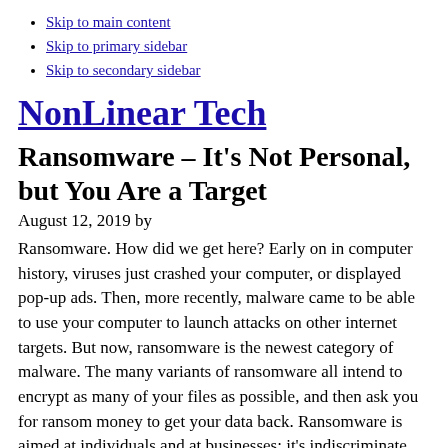Skip to main content
Skip to primary sidebar
Skip to secondary sidebar
NonLinear Tech
Ransomware – It's Not Personal, but You Are a Target
August 12, 2019 by
Ransomware. How did we get here? Early on in computer history, viruses just crashed your computer, or displayed pop-up ads. Then, more recently, malware came to be able to use your computer to launch attacks on other internet targets. But now, ransomware is the newest category of malware. The many variants of ransomware all intend to encrypt as many of your files as possible, and then ask you for ransom money to get your data back. Ransomware is aimed at individuals and at businesses; it's indiscriminate.
Ransomware can be a good deal….for the hackers. It is fairly easy for them to create. They can hide quite well, as they are difficult